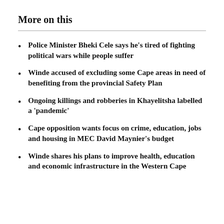More on this
Police Minister Bheki Cele says he's tired of fighting political wars while people suffer
Winde accused of excluding some Cape areas in need of benefiting from the provincial Safety Plan
Ongoing killings and robberies in Khayelitsha labelled a 'pandemic'
Cape opposition wants focus on crime, education, jobs and housing in MEC David Maynier's budget
Winde shares his plans to improve health, education and economic infrastructure in the Western Cape